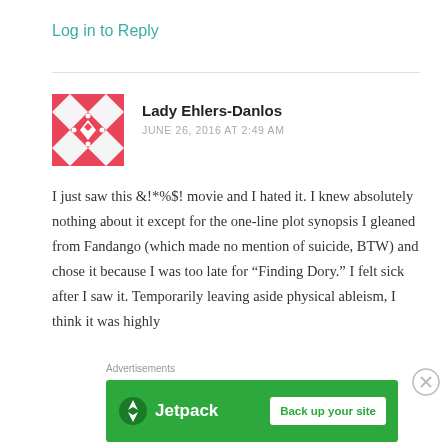Log in to Reply
Lady Ehlers-Danlos
JUNE 26, 2016 AT 2:49 AM
[Figure (illustration): Red geometric quilt-pattern avatar icon made of triangles and diamond shapes]
I just saw this &!*%$! movie and I hated it. I knew absolutely nothing about it except for the one-line plot synopsis I gleaned from Fandango (which made no mention of suicide, BTW) and chose it because I was too late for “Finding Dory.” I felt sick after I saw it. Temporarily leaving aside physical ableism, I think it was highly
Advertisements
[Figure (logo): Jetpack advertisement banner with green background, Jetpack logo on left and 'Back up your site' white button on right]